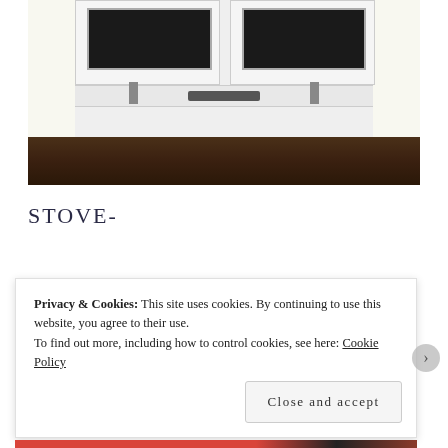[Figure (photo): Close-up photograph of a large stainless steel range/oven with two oven doors with dark glass windows, a warming drawer below, chrome legs, flanked by white cabinetry panels, set on dark hardwood flooring.]
STOVE-
Privacy & Cookies: This site uses cookies. By continuing to use this website, you agree to their use.
To find out more, including how to control cookies, see here: Cookie Policy
Close and accept